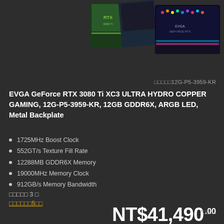[Figure (photo): Product photo showing EVGA GeForce RTX 3080 Ti graphics card boxes and the card itself with RGB lighting, displayed on a dark background]
□□□□□12G-P5-3959-KR
EVGA GeForce RTX 3080 Ti XC3 ULTRA HYDRO COPPER GAMING, 12G-P5-3959-KR, 12GB GDDR6X, ARGB LED, Metal Backplate
1725MHz Boost Clock
552GT/s Texture Fill Rate
12288MB GDDR6X Memory
19000MHz Memory Clock
912GB/s Memory Bandwidth
□□□□□ 3 □
□□□□□□5□□
NT$41,490.00
*□□□□